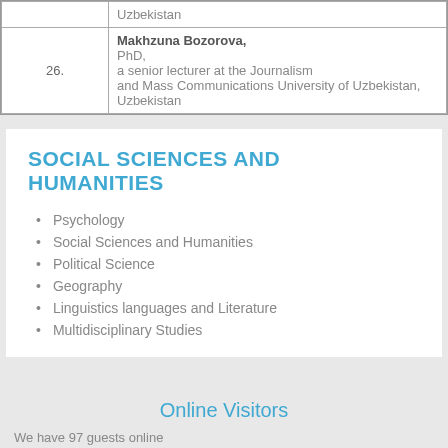|  |  |
| --- | --- |
|  | Uzbekistan |
| 26. | Makhzuna Bozorova, PhD, a senior lecturer at the Journalism and Mass Communications University of Uzbekistan, Uzbekistan |
SOCIAL SCIENCES AND HUMANITIES
Psychology
Social Sciences and Humanities
Political Science
Geography
Linguistics languages and Literature
Multidisciplinary Studies
Online Visitors
We have 97 guests online